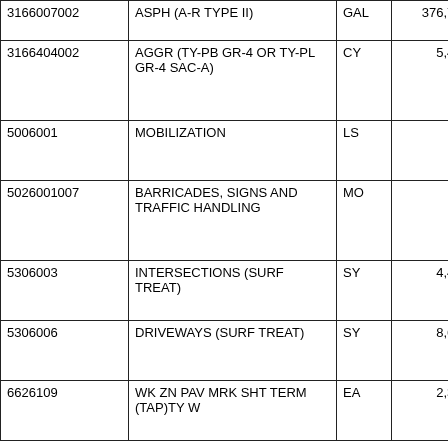| Item Number | Description | Unit | Quantity |
| --- | --- | --- | --- |
| 3166007002 | ASPH (A-R TYPE II) | GAL | 376,769.000 |
| 3166404002 | AGGR (TY-PB GR-4 OR TY-PL GR-4 SAC-A) | CY | 5,481.000 |
| 5006001 | MOBILIZATION | LS | 1.000 |
| 5026001007 | BARRICADES, SIGNS AND TRAFFIC HANDLING | MO | 4.000 |
| 5306003 | INTERSECTIONS (SURF TREAT) | SY | 4,420.000 |
| 5306006 | DRIVEWAYS (SURF TREAT) | SY | 8,625.000 |
| 6626109 | WK ZN PAV MRK SHT TERM (TAP)TY W | EA | 2,388.000 |